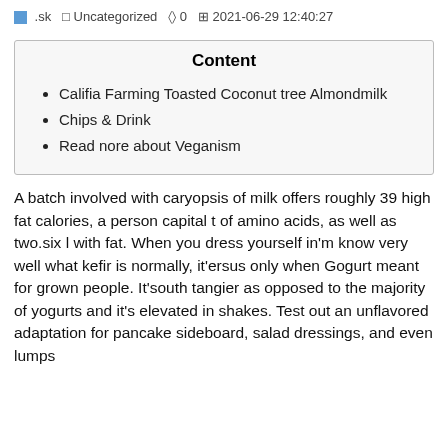sk  Uncategorized  0  2021-06-29 12:40:27
| Content |
| --- |
| Califia Farming Toasted Coconut tree Almondmilk |
| Chips & Drink |
| Read nore about Veganism |
A batch involved with caryopsis of milk offers roughly 39 high fat calories, a person capital t of amino acids, as well as two.six l with fat. When you dress yourself in'm know very well what kefir is normally, it'ersus only when Gogurt meant for grown people. It'south tangier as opposed to the majority of yogurts and it's elevated in shakes. Test out an unflavored adaptation for pancake sideboard, salad dressings, and even lumps